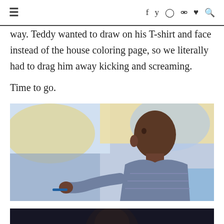≡  f  𝕥  ◎  ⊕  ♥  🔍
way. Teddy wanted to draw on his T-shirt and face instead of the house coloring page, so we literally had to drag him away kicking and screaming.
Time to go.
[Figure (photo): A young toddler/baby viewed from the side, looking upward with curiosity, wearing a patterned sweater. Colorful background with what appears to be art or murals. The child is holding a marker or crayon.]
[Figure (photo): Partially visible photo at the bottom of the page, dark toned image, appears to show a person.]